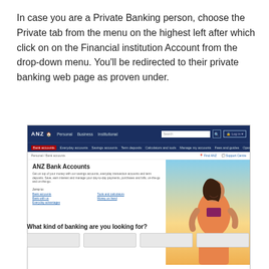In case you are a Private Banking person, choose the Private tab from the menu on the highest left after which click on on the Financial institution Account from the drop-down menu. You'll be redirected to their private banking web page as proven under.
[Figure (screenshot): Screenshot of ANZ Bank Accounts webpage showing navigation bar with Personal, Business, Institutional tabs, sub-navigation with Bank accounts, Everyday accounts, Savings accounts, Term deposits, Calculators and tools, Manage my accounts, Fees and guides, Open an account. Main content shows ANZ Bank Accounts heading with description text and a woman in orange/pink clothing. Bottom shows 'What kind of banking are you looking for?' section with card placeholders.]